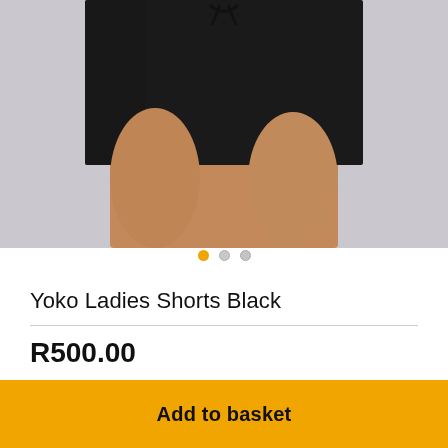[Figure (photo): A person wearing black ladies shorts (Yoko brand), showing lower torso and upper legs against a light grey background.]
Yoko Ladies Shorts Black
R500.00
Sold By: FLOAT APPAREL | Status: 2 in stock
Add to basket